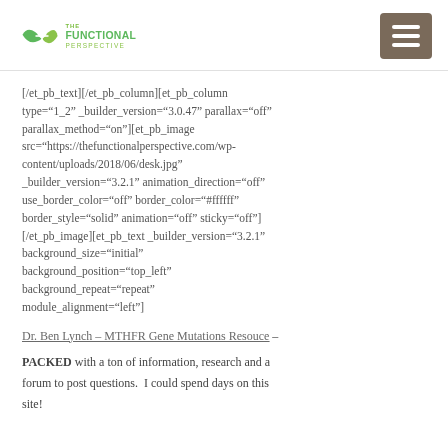The Functional Perspective
[/et_pb_text][/et_pb_column][et_pb_column type="1_2" _builder_version="3.0.47" parallax="off" parallax_method="on"][et_pb_image src="https://thefunctionalperspective.com/wp-content/uploads/2018/06/desk.jpg" _builder_version="3.2.1" animation_direction="off" use_border_color="off" border_color="#ffffff" border_style="solid" animation="off" sticky="off"] [/et_pb_image][et_pb_text _builder_version="3.2.1" background_size="initial" background_position="top_left" background_repeat="repeat" module_alignment="left"]
Dr. Ben Lynch – MTHFR Gene Mutations Resouce – PACKED with a ton of information, research and a forum to post questions.  I could spend days on this site!